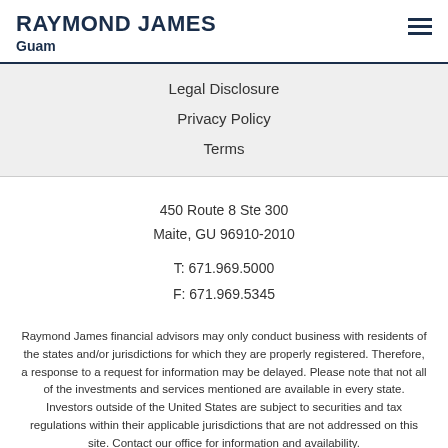RAYMOND JAMES
Guam
Legal Disclosure
Privacy Policy
Terms
450 Route 8 Ste 300
Maite, GU 96910-2010

T: 671.969.5000

F: 671.969.5345
Raymond James financial advisors may only conduct business with residents of the states and/or jurisdictions for which they are properly registered. Therefore, a response to a request for information may be delayed. Please note that not all of the investments and services mentioned are available in every state. Investors outside of the United States are subject to securities and tax regulations within their applicable jurisdictions that are not addressed on this site. Contact our office for information and availability.